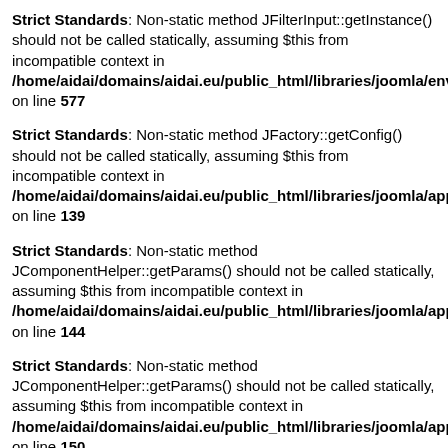Strict Standards: Non-static method JFilterInput::getInstance() should not be called statically, assuming $this from incompatible context in /home/aidai/domains/aidai.eu/public_html/libraries/joomla/envir on line 577
Strict Standards: Non-static method JFactory::getConfig() should not be called statically, assuming $this from incompatible context in /home/aidai/domains/aidai.eu/public_html/libraries/joomla/appli on line 139
Strict Standards: Non-static method JComponentHelper::getParams() should not be called statically, assuming $this from incompatible context in /home/aidai/domains/aidai.eu/public_html/libraries/joomla/appli on line 144
Strict Standards: Non-static method JComponentHelper::getParams() should not be called statically, assuming $this from incompatible context in /home/aidai/domains/aidai.eu/public_html/libraries/joomla/appli on line 150
Strict Standards: Non-static method